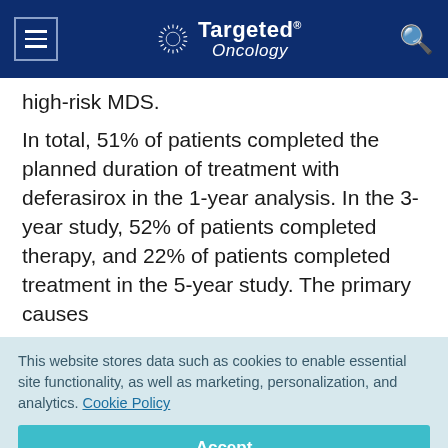Targeted Oncology
high-risk MDS.
In total, 51% of patients completed the planned duration of treatment with deferasirox in the 1-year analysis. In the 3-year study, 52% of patients completed therapy, and 22% of patients completed treatment in the 5-year study. The primary causes
This website stores data such as cookies to enable essential site functionality, as well as marketing, personalization, and analytics. Cookie Policy
Accept
Deny